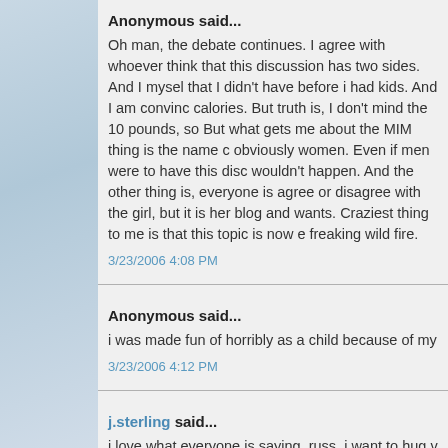Anonymous said...
Oh man, the debate continues. I agree with whoever think that this discussion has two sides. And I myself that I didn't have before i had kids. And I am convinc calories. But truth is, I don't mind the 10 pounds, so But what gets me about the MIM thing is the name c obviously women. Even if men were to have this dis wouldn't happen. And the other thing is, everyone is agree or disagree with the girl, but it is her blog and wants. Craziest thing to me is that this topic is now e freaking wild fire.
3/23/2006 4:08 PM
Anonymous said...
i was made fun of horribly as a child because of my
3/23/2006 4:12 PM
j.sterling said...
i love what everyone is saying. russ. i want to hug v